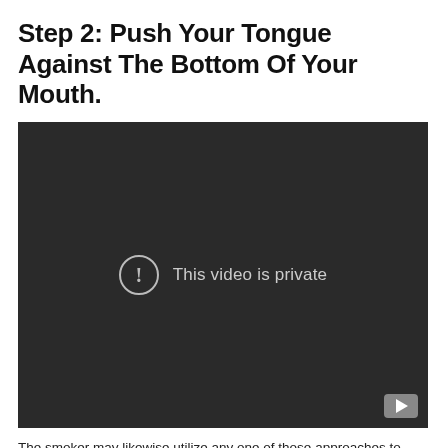Step 2: Push Your Tongue Against The Bottom Of Your Mouth.
[Figure (screenshot): Embedded video player showing a dark/black background with a centered warning icon (exclamation mark in a circle) and the message 'This video is private'. A YouTube play button icon is visible in the bottom-right corner.]
The smoker may likewise utilize any one of those approaches to blow